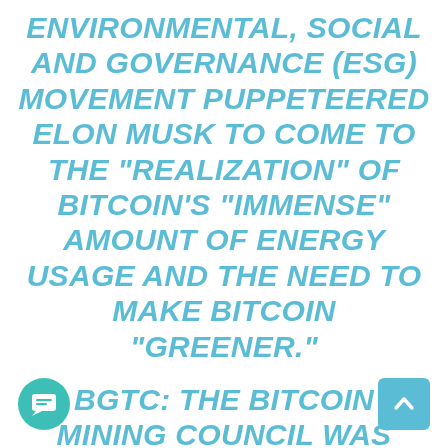ENVIRONMENTAL, SOCIAL AND GOVERNANCE (ESG) MOVEMENT PUPPETEERED ELON MUSK TO COME TO THE "REALIZATION" OF BITCOIN'S “IMMENSE” AMOUNT OF ENERGY USAGE AND THE NEED TO MAKE BITCOIN “GREENER.”
BGTC: THE BITCOIN MINING COUNCIL WAS CREATED BY MICHAEL SAYLOR AND AFTER COMPILING AN IMMENSE AMOUNT OF ENERGY USAGE DATA FROM 23 MINERS (62% OF THE MINING INDUSTRY) THAT FREELY JOINED